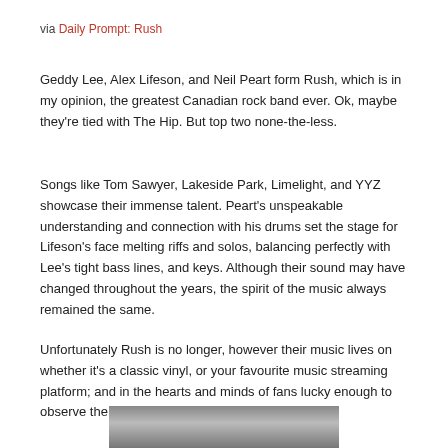via Daily Prompt: Rush
Geddy Lee, Alex Lifeson, and Neil Peart form Rush, which is in my opinion, the greatest Canadian rock band ever. Ok, maybe they’re tied with The Hip. But top two none-the-less.
Songs like Tom Sawyer, Lakeside Park, Limelight, and YYZ showcase their immense talent. Peart’s unspeakable understanding and connection with his drums set the stage for Lifeson’s face melting riffs and solos, balancing perfectly with Lee’s tight bass lines, and keys. Although their sound may have changed throughout the years, the spirit of the music always remained the same.
Unfortunately Rush is no longer, however their music lives on whether it’s a classic vinyl, or your favourite music streaming platform; and in the hearts and minds of fans lucky enough to observe the spectacle first hand.
[Figure (photo): Partial photo visible at bottom of page, appears to be a concert or stage scene in grayscale]